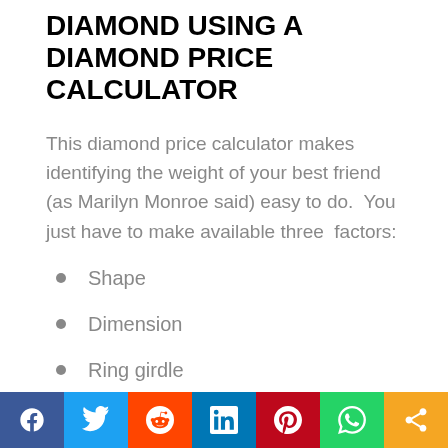DIAMOND USING A DIAMOND PRICE CALCULATOR
This diamond price calculator makes identifying the weight of your best friend (as Marilyn Monroe said) easy to do.  You just have to make available three  factors:
Shape
Dimension
Ring girdle
OUR DIAMOND WEIGHT CALCULATOR